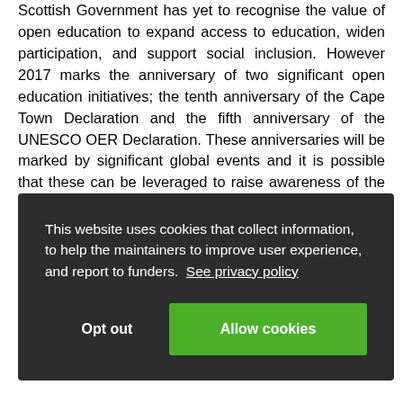Scottish Government has yet to recognise the value of open education to expand access to education, widen participation, and support social inclusion. However 2017 marks the anniversary of two significant open education initiatives; the tenth anniversary of the Cape Town Declaration and the fifth anniversary of the UNESCO OER Declaration. These anniversaries will be marked by significant global events and it is possible that these can be leveraged to raise awareness of the value of open education within the Scottish Government and to drive forward the
[Figure (screenshot): Cookie consent banner with dark background. Text reads: 'This website uses cookies that collect information, to help the maintainers to improve user experience, and report to funders. See privacy policy'. Two buttons: 'Opt out' (text only) and 'Allow cookies' (green button).]